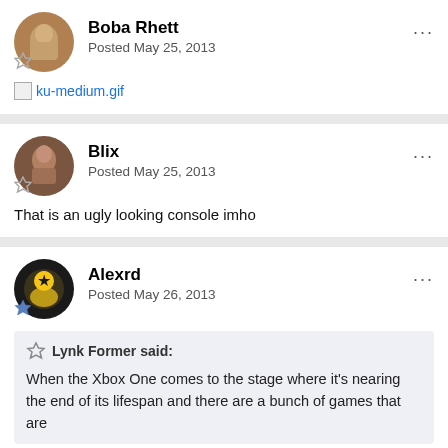Boba Rhett
Posted May 25, 2013
ku-medium.gif
Blix
Posted May 25, 2013
That is an ugly looking console imho
Alexrd
Posted May 26, 2013
Lynk Former said:
When the Xbox One comes to the stage where it's nearing the end of its lifespan and there are a bunch of games that are